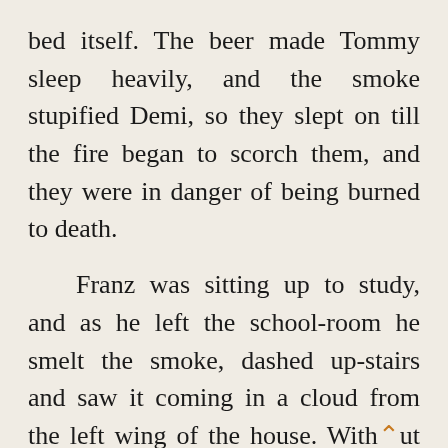bed itself. The beer made Tommy sleep heavily, and the smoke stupified Demi, so they slept on till the fire began to scorch them, and they were in danger of being burned to death.
Franz was sitting up to study, and as he left the school-room he smelt the smoke, dashed up-stairs and saw it coming in a cloud from the left wing of the house. Without stopping to call any one,